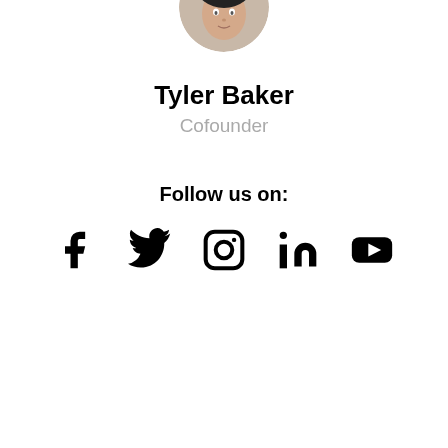[Figure (photo): Circular profile photo of Tyler Baker, partially cropped at top of page, showing a person with dark hair]
Tyler Baker
Cofounder
Follow us on:
[Figure (infographic): Row of five social media icons: Facebook, Twitter, Instagram, LinkedIn, YouTube]